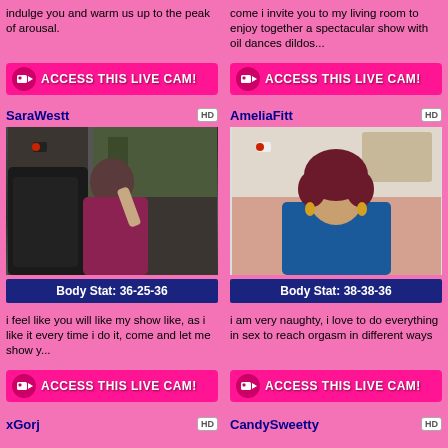indulge you and warm us up to the peak of arousal.
come i invite you to my living room to enjoy together a spectacular show with oil dances dildos...
ACCESS THIS LIVE CAM!
ACCESS THIS LIVE CAM!
SaraWestt
AmeliaFitt
[Figure (photo): Woman in red dress sitting in car driver seat, dark interior]
[Figure (photo): Woman with curly dark red hair in blue jacket]
Body Stat: 36-25-36
Body Stat: 38-38-36
i feel like you will like my show like, as i like it every time i do it, come and let me show y...
i am very naughty, i love to do everything in sex to reach orgasm in different ways
ACCESS THIS LIVE CAM!
ACCESS THIS LIVE CAM!
xGorj
CandySweetty